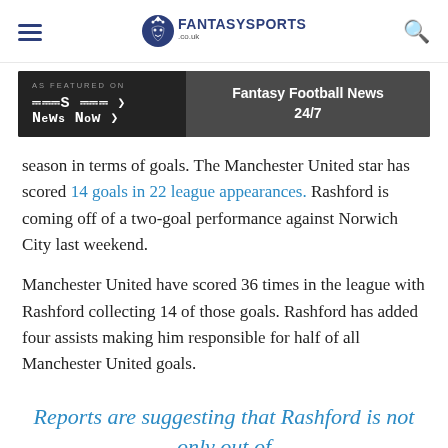FantasySports.co.uk
[Figure (screenshot): News Now banner advertisement - AS FEATURED ON NEWS NOW > | Fantasy Football News 24/7]
season in terms of goals. The Manchester United star has scored 14 goals in 22 league appearances. Rashford is coming off of a two-goal performance against Norwich City last weekend.
Manchester United have scored 36 times in the league with Rashford collecting 14 of those goals. Rashford has added four assists making him responsible for half of all Manchester United goals.
Reports are suggesting that Rashford is not only out of